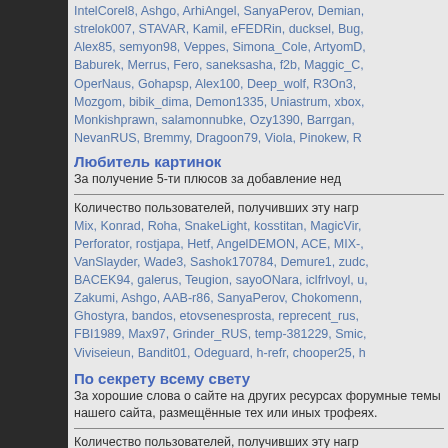IntelCorel8, Ashgo, ArhiAngel, SanyaPerov, Demian, strelok007, STAVAR, Kamil, eFEDRin, ducksel, Bug, Alex85, semyon98, Veppes, Simona_Cole, ArtyomD, Baburek, Merrus, Fero, saneksasha, f2b, Maggic_C, OperNaus, Gohapsp, Alex100, Deep_wolf, R3On3, Mozgom, bibik_dima, Demon1335, Uniastrum, xbox, Monkishprawn, salamonnubke, Ozy1390, Barrgan, NevanRUS, Bremmy, Dragoon79, Viola, Pinokew, R
Любитель картинок
За получение 5-ти плюсов за добавление нед
Количество пользователей, получивших эту нагр
Mix, Konrad, Roha, SnakeLight, kosstitan, MagicVir, Perforator, rostjapa, Hetf, AngelDEMON, ACE, MIX-, VanSlayder, Wade3, Sashok170784, Demure1, zudc, BACEK94, galerus, Teugion, sayoONara, iclfrlvoyl, u, Zakumi, Ashgo, AAB-r86, SanyaPerov, Chokomenn, Ghostyra, bandos, etovsenesprosta, reprecent_rus, FBI1989, Max97, Grinder_RUS, temp-381229, Smic, Viviseieun, Bandit01, Odeguard, h-refr, chooper25, h
По секрету всему свету
За хорошие слова о сайте на других ресурсах форумные темы нашего сайта, размещённые тех или иных трофеях.
Количество пользователей, получивших эту нагр
Mix, Greyder, Konrad, GANGSTER1990, Дмитрий, MasterBanker, antiplus, Styler, BANDICOOT-RUS, R
Плюс один
За приобщение друга к сообществу. Для полу